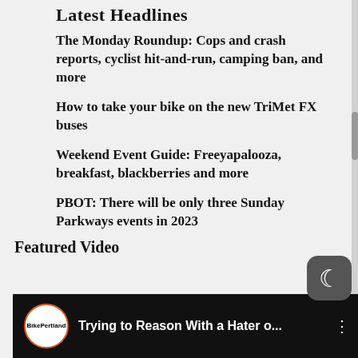Latest Headlines
The Monday Roundup: Cops and crash reports, cyclist hit-and-run, camping ban, and more
How to take your bike on the new TriMet FX buses
Weekend Event Guide: Freeyapalooza, breakfast, blackberries and more
PBOT: There will be only three Sunday Parkways events in 2023
Featured Video
[Figure (screenshot): Video thumbnail showing BikePortland logo and title 'Trying to Reason With a Hater o...' on dark background]